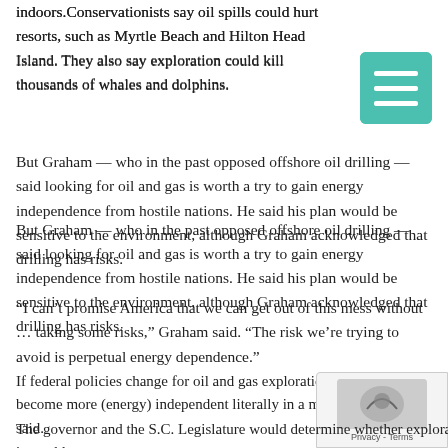indoors. Conservationists say oil spills could hurt resorts, such as Myrtle Beach and Hilton Head Island. They also say exploration could kill thousands of whales and dolphins.
But Graham — who in the past opposed offshore oil drilling — said looking for oil and gas is worth a try to gain energy independence from hostile nations. He said his plan would be sensitive to the environment, although Graham acknowledged that drilling has risks.
“I can’t promise America that we can get out of this mess without … taking some risks,” Graham said. “The risk we’re trying to avoid is perpetual energy dependence.”
If federal policies change for oil and gas exploration, “we could become more (energy) independent literally in a matter of years,” he said.
The governor and the S.C. Legislature would determine whether exploration for oil and gas could occur within the 10-to-50-mile area, as well as where it would